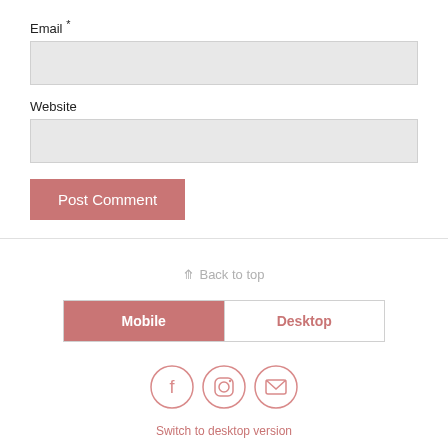Email *
Website
Post Comment
⇑ Back to top
Mobile
Desktop
[Figure (illustration): Three circular social media icons: Facebook, Instagram, and email/envelope]
Switch to desktop version